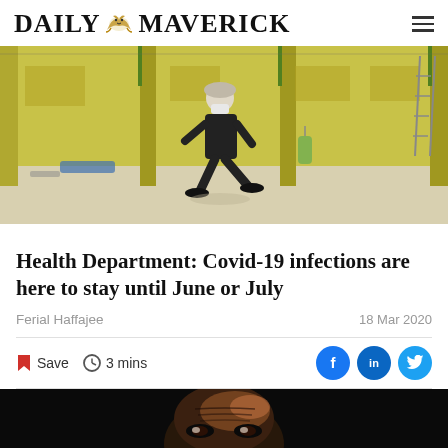DAILY MAVERICK
[Figure (photo): Person in black clothing and face mask walking through a large empty indoor space with yellow walls, construction setting, possibly a temporary hospital or facility being set up.]
Health Department: Covid-19 infections are here to stay until June or July
Ferial Haffajee
18 Mar 2020
Save  3 mins
[Figure (photo): Close-up of a person's face in dark lighting, showing forehead wrinkles and eyes lit from one side.]